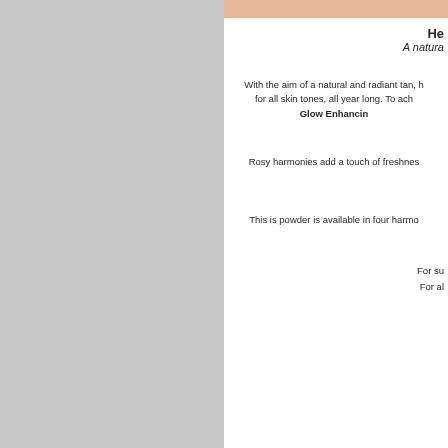[Figure (photo): Photo strip of skin/model at top of right panel]
He...
A natur...
With the aim of a natural and radiant tan, for all skin tones, all year long. To ach... Glow Enhancin...
Rosy harmonies add a touch of freshnes...
This is powder is available in four harmo...
For su...
For al...